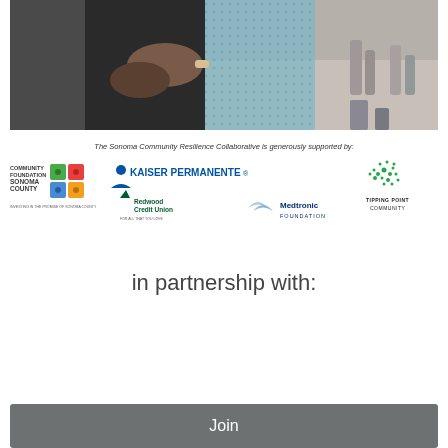[Figure (photo): Close-up photo of people embracing or dancing in a large indoor venue, showing arms and torsos with people visible in the background]
The Sonoma Community Resilience Collaborative is generously supported by:
[Figure (logo): Sponsor logos: Community Foundation Sonoma County, Kaiser Permanente, Redwood Credit Union, Medtronic Foundation, Tipping Point Community]
in partnership with:
Join